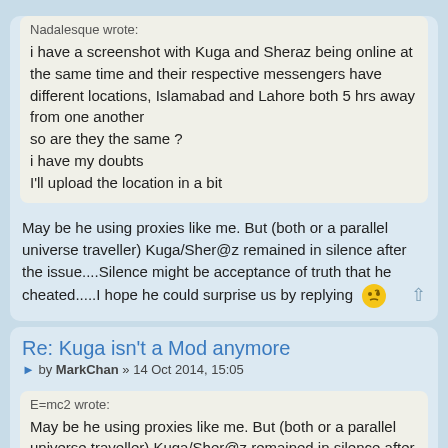Nadalesque wrote:
i have a screenshot with Kuga and Sheraz being online at the same time and their respective messengers have different locations, Islamabad and Lahore both 5 hrs away from one another
so are they the same ?
i have my doubts
I'll upload the location in a bit
May be he using proxies like me. But (both or a parallel universe traveller) Kuga/Sher@z remained in silence after the issue....Silence might be acceptance of truth that he cheated.....I hope he could surprise us by replying
Re: Kuga isn't a Mod anymore
by MarkChan » 14 Oct 2014, 15:05
E=mc2 wrote:
May be he using proxies like me. But (both or a parallel universe traveller) Kuga/Sher@z remained in silence after the issue....Silence might be acceptance of truth that he cheated.....I hope he could surprise us by replying